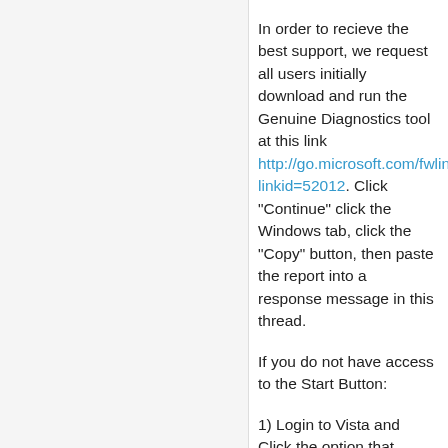In order to recieve the best support, we request all users initially download and run the Genuine Diagnostics tool at this link http://go.microsoft.com/fwlink/?linkid=52012. Click "Continue" click the Windows tab, click the "Copy" button, then paste the report into a response message in this thread.
If you do not have access to the Start Button:
1) Login to Vista and Click the option that brings up Internet Explorer.
2) Type: http://go.microsoft.com/fwlink/?linkid=52012 into the browser address bar.
3) A window will come up asking if you want to Run or Save, Select Run
4) When the program runs, Click the Continue button, then click the Copy button...